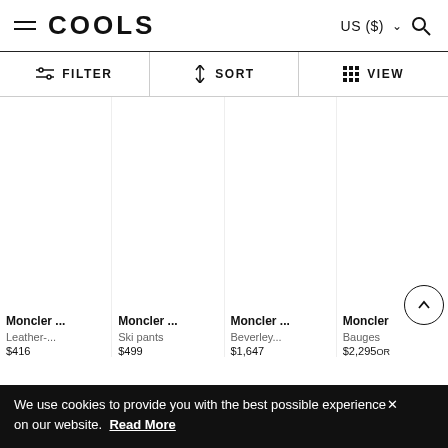COOLS | US ($) | Filter | Sort | View
[Figure (screenshot): Four product cards for Moncler items: 1) Leather-... $416, 2) Ski pants $499, 3) Beverley... $1,647, 4) Bauges... $2,295 OR]
Moncler ...
Leather-...
$416
Moncler ...
Ski pants
$499
Moncler ...
Beverley...
$1,647
Moncler
Bauges
$2,295OR
We use cookies to provide you with the best possible experience on our website.  Read More